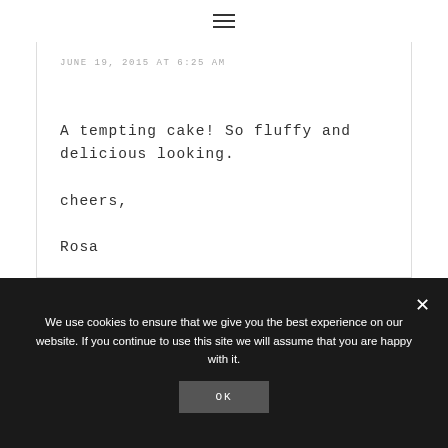☰
JUNE 19, 2015 AT 6:25 AM
A tempting cake! So fluffy and delicious looking.

cheers,

Rosa
We use cookies to ensure that we give you the best experience on our website. If you continue to use this site we will assume that you are happy with it.
OK